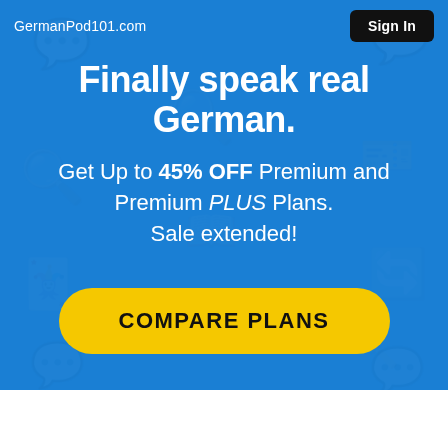GermanPod101.com
Sign In
Finally speak real German.
Get Up to 45% OFF Premium and Premium PLUS Plans. Sale extended!
COMPARE PLANS